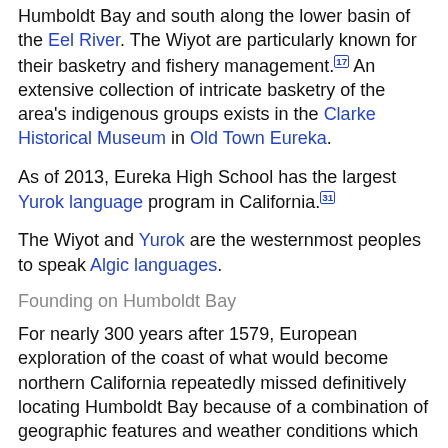Humboldt Bay and south along the lower basin of the Eel River. The Wiyot are particularly known for their basketry and fishery management.[17] An extensive collection of intricate basketry of the area's indigenous groups exists in the Clarke Historical Museum in Old Town Eureka.
As of 2013, Eureka High School has the largest Yurok language program in California.[31]
The Wiyot and Yurok are the westernmost peoples to speak Algic languages.
Founding on Humboldt Bay
For nearly 300 years after 1579, European exploration of the coast of what would become northern California repeatedly missed definitively locating Humboldt Bay because of a combination of geographic features and weather conditions which concealed the